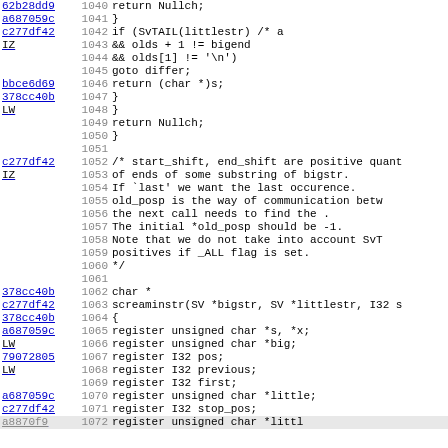[Figure (screenshot): Source code viewer showing C code lines 1040-1071 with commit hash annotations on the left, line numbers in gray, and code content on the right. Includes code for returning Nullch, SvTAIL conditions, a comment block about start_shift/end_shift, and the beginning of screaminstr function.]